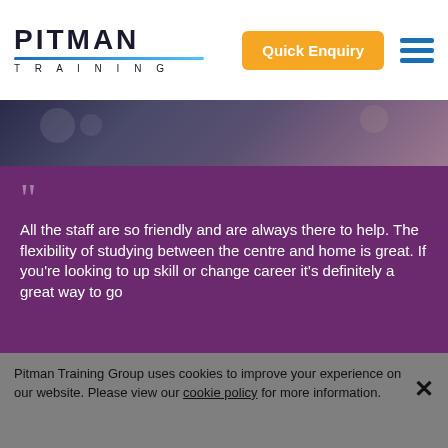[Figure (logo): Pitman Training logo with blue underline and 'TRAINING' text below]
Quick Enquiry
[Figure (illustration): Partial photo strip showing floral patterned background with person]
All the staff are so friendly and are always there to help. The flexibility of studying between the centre and home is great. If you're looking to up skill or change career it's definitely a great way to go
- Theresa
Pitman Training Group uses cookies to improve your experience on our website. Please view our cookie policy for more information.